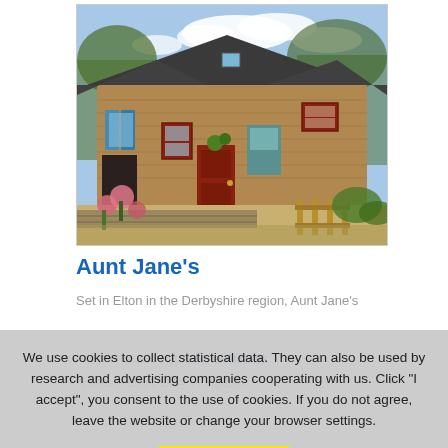[Figure (photo): Exterior photo of Aunt Jane's cottage in Elton, Derbyshire — a stone farmhouse building with red/brown doors, wooden gate, pink roses, and blue sky]
Aunt Jane's
Set in Elton in the Derbyshire region, Aunt Jane's
Accommodation type: Hotel Aldwark
Address: Elton, DE4 ... Kingdom
We use cookies to collect statistical data. They can also be used by research and advertising companies cooperating with us. Click "I accept", you consent to the use of cookies. If you do not agree, leave the website or change your browser settings.
I accept